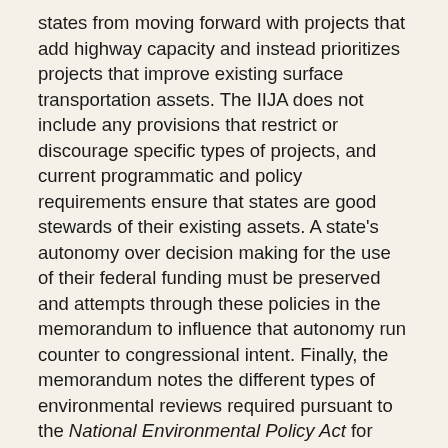states from moving forward with projects that add highway capacity and instead prioritizes projects that improve existing surface transportation assets. The IIJA does not include any provisions that restrict or discourage specific types of projects, and current programmatic and policy requirements ensure that states are good stewards of their existing assets. A state's autonomy over decision making for the use of their federal funding must be preserved and attempts through these policies in the memorandum to influence that autonomy run counter to congressional intent. Finally, the memorandum notes the different types of environmental reviews required pursuant to the National Environmental Policy Act for surface transportation projects. By highlighting projects that require only a categorical exclusion, the memorandum seeks to advance those projects regardless of whether they address the needs of a particular state or community. The IIJA includes numerous provisions to facilitate the efficient delivery of all projects. Notably, the law modifies the Categorical Exclusion list and...